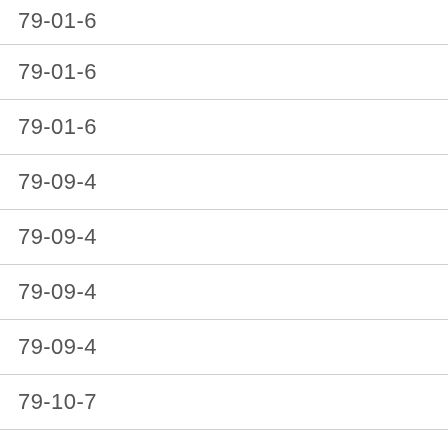| 79-01-6 |
| 79-01-6 |
| 79-01-6 |
| 79-09-4 |
| 79-09-4 |
| 79-09-4 |
| 79-09-4 |
| 79-10-7 |
| 79-10-7 |
| 79-10-7 |
|  |